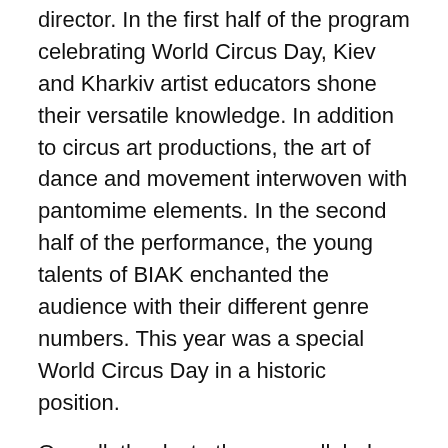director. In the first half of the program celebrating World Circus Day, Kiev and Kharkiv artist educators shone their versatile knowledge. In addition to circus art productions, the art of dance and movement interwoven with pantomime elements. In the second half of the performance, the young talents of BIAK enchanted the audience with their different genre numbers. This year was a special World Circus Day in a historic position.
Overall, thanks to the unparalleled collaboration in Hungarian circus art – National Circus Arts Center, INspirál Circus Center, BIAK, Recirquel Company, Balance Acrobatics & amp; Torna Club, Vincze Tünde Production – Ukrainian artist educators can continue their studies in safety, while continue to develop together with their Hungarian peers.